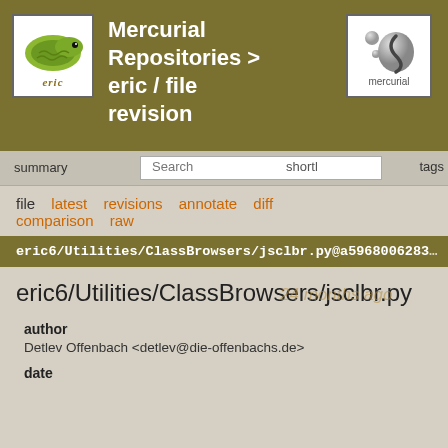[Figure (logo): Eric IDE snake logo with text 'eric' below]
Mercurial Repositories > eric / file revision
[Figure (logo): Mercurial logo with yin-yang dots and text 'mercurial']
summary  Search  shortl  tags
file  latest  revisions  annotate  diff  comparison  raw
eric6/Utilities/ClassBrowsers/jsclbr.py@a596800628...
eric6/Utilities/ClassBrowsers/jsclbr.py
author
Detlev Offenbach <detlev@die-offenbachs.de>
date